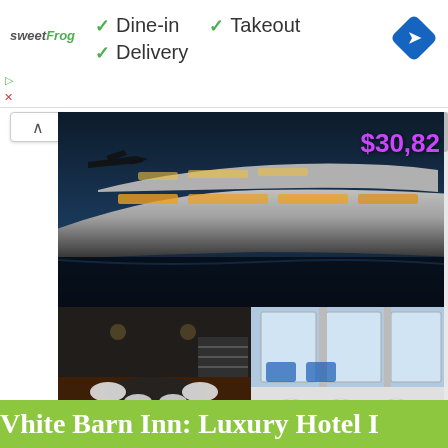[Figure (screenshot): SweetFrog ad with green checkmarks showing Dine-in, Takeout, Delivery options, and a blue diamond navigation icon on the right]
✓ Dine-in  ✓ Takeout
✓ Delivery
[Figure (photo): Luxury yacht exterior at night with price $30,82 visible in purple/magenta text, and interior shots showing dining area and lounge]
$30,82
www.denisonyachtsales.com
White Barn Inn: Luxury Hotel I